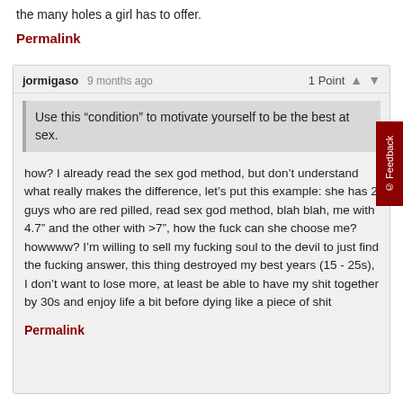the many holes a girl has to offer.
Permalink
jormigaso 9 months ago   1 Point
Use this “condition” to motivate yourself to be the best at sex.
how? I already read the sex god method, but don’t understand what really makes the difference, let’s put this example: she has 2 guys who are red pilled, read sex god method, blah blah, me with 4.7" and the other with >7", how the fuck can she choose me? howwww? I’m willing to sell my fucking soul to the devil to just find the fucking answer, this thing destroyed my best years (15 - 25s), I don’t want to lose more, at least be able to have my shit together by 30s and enjoy life a bit before dying like a piece of shit
Permalink